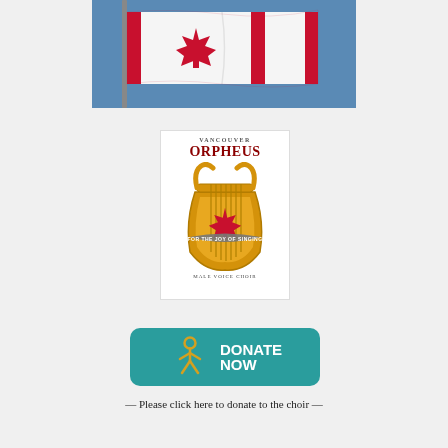[Figure (photo): Canadian flag waving against a blue sky, mounted on a pole. The flag shows the red and white maple leaf design.]
[Figure (logo): Vancouver Orpheus Male Voice Choir logo: red 'ORPHEUS' text above a golden lyre instrument with a red maple leaf in the center and a banner reading 'FOR THE JOY OF SINGING'. Text 'VANCOUVER' above and 'MALE VOICE CHOIR' below.]
[Figure (other): Teal rounded rectangle donate button with a golden stick figure icon on the left and bold white text 'DONATE NOW' on the right.]
— Please click here to donate to the choir —